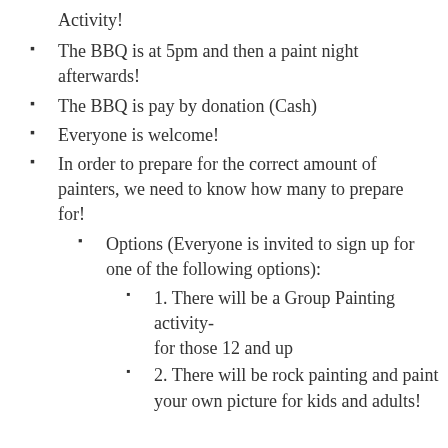Activity!
The BBQ is at 5pm and then a paint night afterwards!
The BBQ is pay by donation (Cash)
Everyone is welcome!
In order to prepare for the correct amount of painters, we need to know how many to prepare for!
Options (Everyone is invited to sign up for one of the following options):
1. There will be a Group Painting activity- for those 12 and up
2. There will be rock painting and paint your own picture for kids and adults!